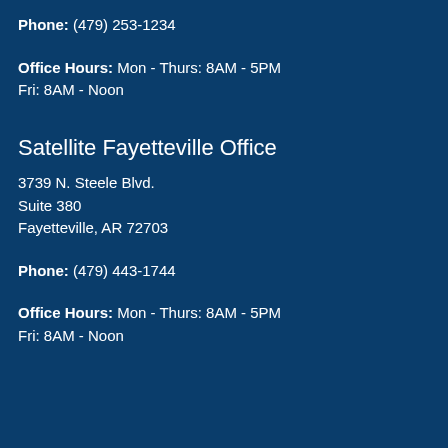Phone: (479) 253-1234
Office Hours: Mon - Thurs: 8AM - 5PM
Fri: 8AM - Noon
Satellite Fayetteville Office
3739 N. Steele Blvd.
Suite 380
Fayetteville, AR 72703
Phone: (479) 443-1744
Office Hours: Mon - Thurs: 8AM - 5PM
Fri: 8AM - Noon